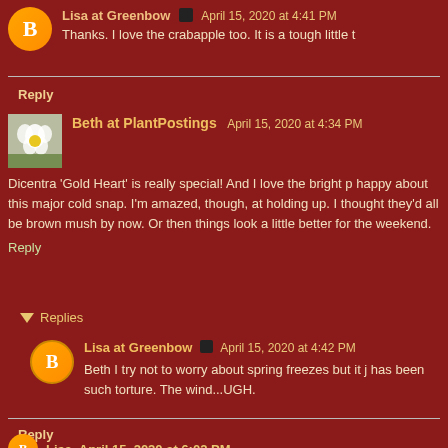Lisa at Greenbow  April 15, 2020 at 4:41 PM
Thanks. I love the crabapple too. It is a tough little t
Reply
Beth at PlantPostings  April 15, 2020 at 4:34 PM
Dicentra 'Gold Heart' is really special! And I love the bright p happy about this major cold snap. I'm amazed, though, at holding up. I thought they'd all be brown mush by now. Or then things look a little better for the weekend.
Reply
Replies
Lisa at Greenbow  April 15, 2020 at 4:42 PM
Beth I try not to worry about spring freezes but it j has been such torture. The wind...UGH.
Reply
Lisa  April 15, 2020 at 6:02 PM